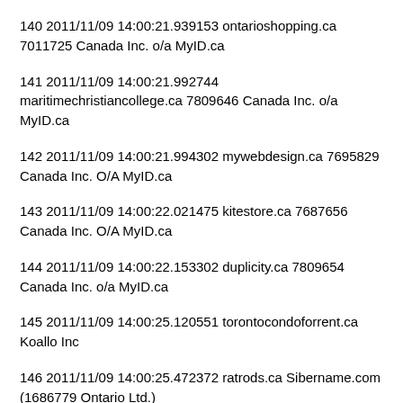140 2011/11/09 14:00:21.939153 ontarioshopping.ca 7011725 Canada Inc. o/a MyID.ca
141 2011/11/09 14:00:21.992744 maritimechristiancollege.ca 7809646 Canada Inc. o/a MyID.ca
142 2011/11/09 14:00:21.994302 mywebdesign.ca 7695829 Canada Inc. O/A MyID.ca
143 2011/11/09 14:00:22.021475 kitestore.ca 7687656 Canada Inc. O/A MyID.ca
144 2011/11/09 14:00:22.153302 duplicity.ca 7809654 Canada Inc. o/a MyID.ca
145 2011/11/09 14:00:25.120551 torontocondoforrent.ca Koallo Inc
146 2011/11/09 14:00:25.472372 ratrods.ca Sibername.com (1686779 Ontario Ltd.)